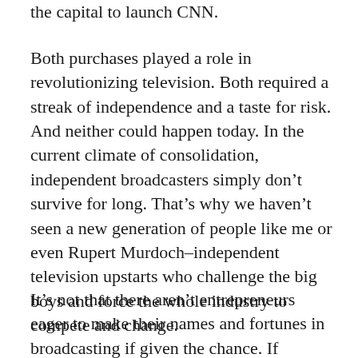the capital to launch CNN.
Both purchases played a role in revolutionizing television. Both required a streak of independence and a taste for risk. And neither could happen today. In the current climate of consolidation, independent broadcasters simply don’t survive for long. That’s why we haven’t seen a new generation of people like me or even Rupert Murdoch–independent television upstarts who challenge the big boys and force the whole industry to compete and change.
It’s not that there aren’t entrepreneurs eager to make their names and fortunes in broadcasting if given the chance. If nothing else, the 1990s